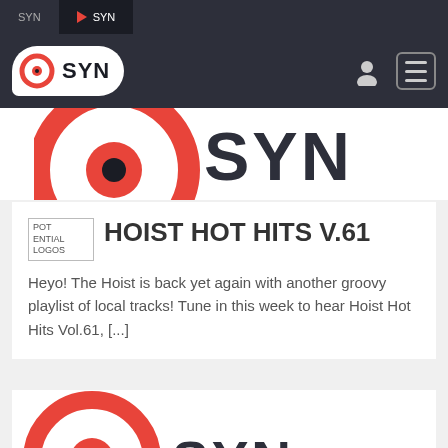SYN | SYN
[Figure (logo): SYN radio logo with navigation bar including user icon and hamburger menu]
[Figure (logo): Large SYN logo partially visible]
HOIST HOT HITS V.61
Heyo! The Hoist is back yet again with another groovy playlist of local tracks! Tune in this week to hear Hoist Hot Hits Vol.61, [...]
[Figure (logo): Second SYN logo card partially visible at bottom]